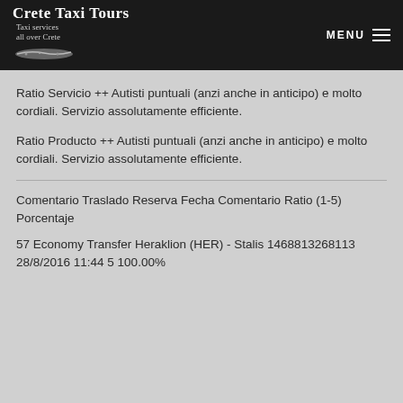Crete Taxi Tours – Taxi services all over Crete / MENU
Ratio Servicio ++ Autisti puntuali (anzi anche in anticipo) e molto cordiali. Servizio assolutamente efficiente.
Ratio Producto ++ Autisti puntuali (anzi anche in anticipo) e molto cordiali. Servizio assolutamente efficiente.
Comentario Traslado Reserva Fecha Comentario Ratio (1-5) Porcentaje
57 Economy Transfer Heraklion (HER) - Stalis 1468813268113 28/8/2016 11:44 5 100.00%